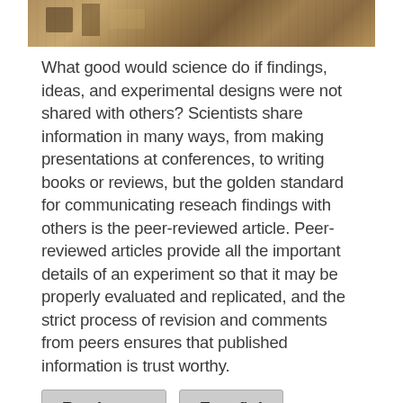[Figure (photo): A partial view of a laboratory or library interior, showing shelving and equipment, cropped at the top of the page.]
What good would science do if findings, ideas, and experimental designs were not shared with others? Scientists share information in many ways, from making presentations at conferences, to writing books or reviews, but the golden standard for communicating reseach findings with others is the peer-reviewed article. Peer-reviewed articles provide all the important details of an experiment so that it may be properly evaluated and replicated, and the strict process of revision and comments from peers ensures that published information is trust worthy.
Read more
Español
PONCE HEALTH SCIENCE UNIVERSITY RISE PROGRAM